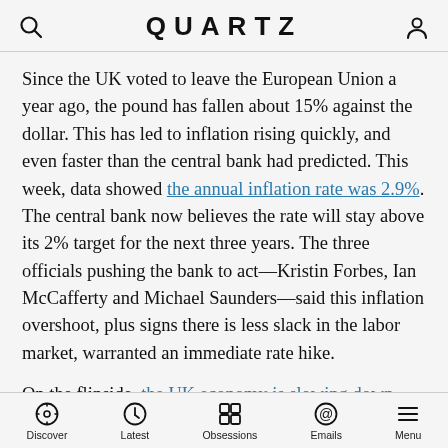QUARTZ
Since the UK voted to leave the European Union a year ago, the pound has fallen about 15% against the dollar. This has led to inflation rising quickly, and even faster than the central bank had predicted. This week, data showed the annual inflation rate was 2.9%. The central bank now believes the rate will stay above its 2% target for the next three years. The three officials pushing the bank to act—Kristin Forbes, Ian McCafferty and Michael Saunders—said this inflation overshoot, plus signs there is less slack in the labor market, warranted an immediate rate hike.
On the flipside, the UK economy is slowing down. Britain had the slowest economic growth in the G7 in the first three months of 2017. Higher inflation is making weak
Discover | Latest | Obsessions | Emails | Menu